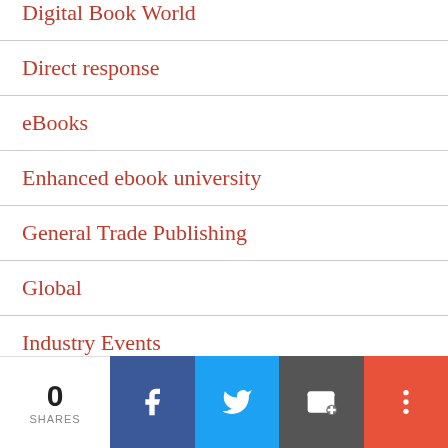Digital Book World
Direct response
eBooks
Enhanced ebook university
General Trade Publishing
Global
Industry Events
libraries
Licensing and Rights
Marketing
0 SHARES | Facebook | Twitter | Email | More